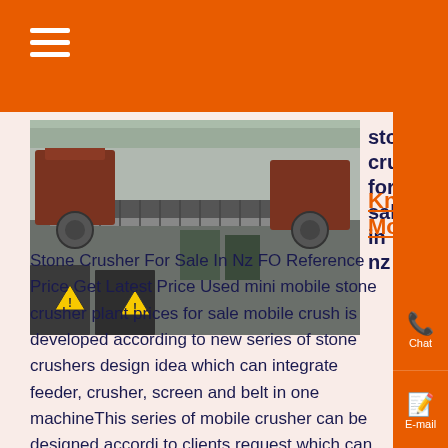☰
stone crusher for sale in nz
Know More
[Figure (photo): Industrial stone crusher conveyor equipment in a factory setting]
Stone Crusher For Sale In Nz FOReference Price Get Latest Price Used mini mobile stone crusher plant prices for sale mobile crush is developed according to new series of stone crushers design idea which can integrate feeder, crusher, screen and belt in one machineThis series of mobile crusher can be designed according to clients request which can completely meet clients product needs...